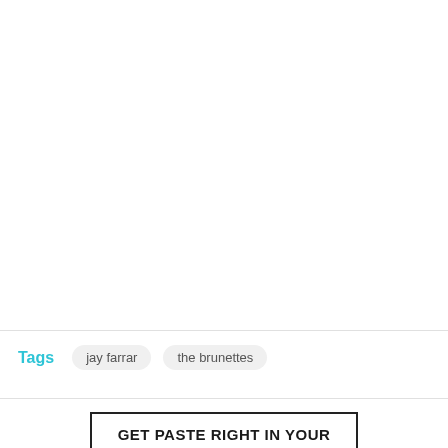Tags  jay farrar  the brunettes
GET PASTE RIGHT IN YOUR INBOX